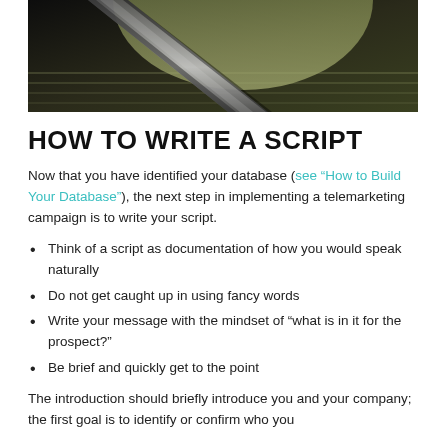[Figure (photo): Close-up photo of a pen or pencil resting on lined paper, lit dramatically with dark background and greenish highlight]
HOW TO WRITE A SCRIPT
Now that you have identified your database (see “How to Build Your Database”), the next step in implementing a telemarketing campaign is to write your script.
Think of a script as documentation of how you would speak naturally
Do not get caught up in using fancy words
Write your message with the mindset of “what is in it for the prospect?”
Be brief and quickly get to the point
The introduction should briefly introduce you and your company; the first goal is to identify or confirm who you